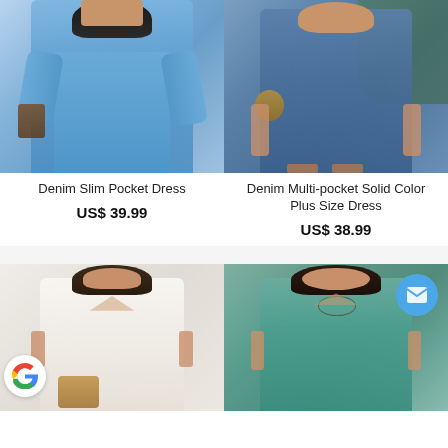[Figure (photo): Woman wearing a blue denim slim pocket button-up short dress with flared sleeves, holding a brown bag]
Denim Slim Pocket Dress
US$ 39.99
[Figure (photo): Woman wearing a blue denim mid-length solid color button-up shirt dress, carrying a wicker bag, outdoors]
Denim Multi-pocket Solid Color Plus Size Dress
US$ 38.99
[Figure (photo): Woman wearing a white loose V-neck short sleeve dress, holding a wicker bag, with Google logo overlay in bottom left]
[Figure (photo): Woman wearing a teal/sage green V-neck loose dress with gathered waist, with email icon overlay in top right]